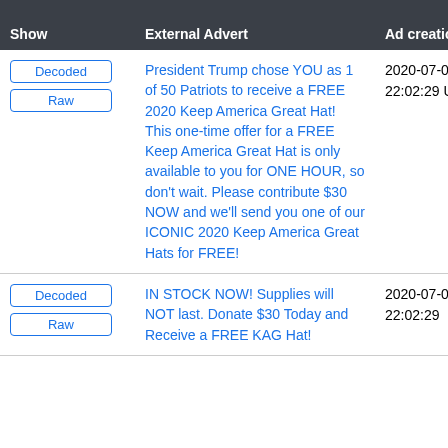| Show | External Advert | Ad creation time |
| --- | --- | --- |
| Decoded / Raw | President Trump chose YOU as 1 of 50 Patriots to receive a FREE 2020 Keep America Great Hat! This one-time offer for a FREE Keep America Great Hat is only available to you for ONE HOUR, so don’t wait. Please contribute $30 NOW and we’ll send you one of our ICONIC 2020 Keep America Great Hats for FREE! | 2020-07-03 22:02:29 UTC |
| Decoded / Raw | IN STOCK NOW! Supplies will NOT last. Donate $30 Today and Receive a FREE KAG Hat! | 2020-07-03 22:02:29 |